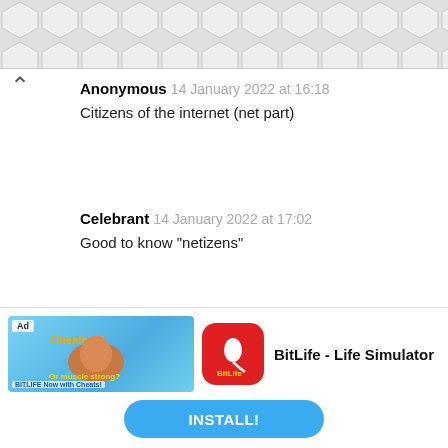[Figure (other): Decorative geometric hexagonal pattern bar at top of page]
Anonymous  14 January 2022 at 16:18
Citizens of the internet (net part)
Celebrant  14 January 2022 at 17:02
Good to know "netizens"
Reply
Cynthia Iyede  14 January 2022 at 14:42
[Figure (screenshot): Ad banner for BitLife - Life Simulator app with install button]